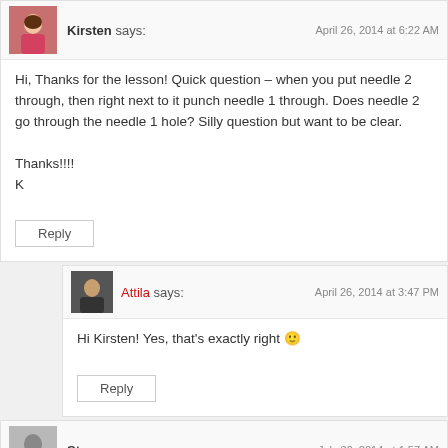Kirsten says: April 26, 2014 at 6:22 AM
Hi, Thanks for the lesson! Quick question – when you put needle 2 through, then right next to it punch needle 1 through. Does needle 2 go through the needle 1 hole? Silly question but want to be clear.

Thanks!!!!
K
Reply
Attila says: April 26, 2014 at 3:47 PM
Hi Kirsten! Yes, that's exactly right 🙂
Reply
Steve says: July 30, 2014 at 1:57 AM
Hi,
I am stitching three pcs of thick leather for a knife sheath using ...